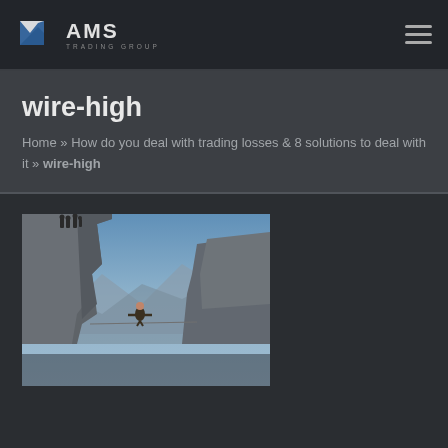AMS TRADING GROUP
wire-high
Home » How do you deal with trading losses & 8 solutions to deal with it » wire-high
[Figure (photo): A person walking a tightrope/highline between two rocky cliffs with mountain landscape in the background]